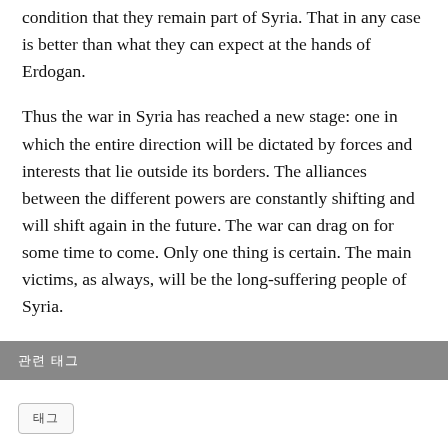condition that they remain part of Syria. That in any case is better than what they can expect at the hands of Erdogan.
Thus the war in Syria has reached a new stage: one in which the entire direction will be dictated by forces and interests that lie outside its borders. The alliances between the different powers are constantly shifting and will shift again in the future. The war can drag on for some time to come. Only one thing is certain. The main victims, as always, will be the long-suffering people of Syria.
관련 태그
태그